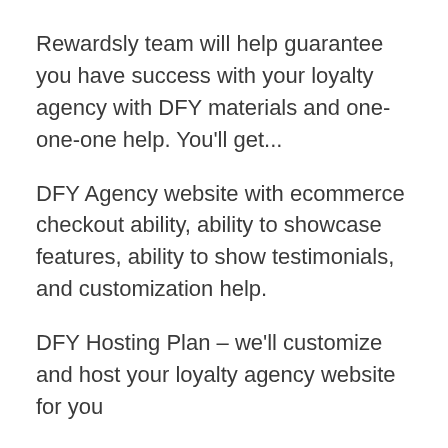Rewardsly team will help guarantee you have success with your loyalty agency with DFY materials and one-one-one help. You'll get...
DFY Agency website with ecommerce checkout ability, ability to showcase features, ability to show testimonials, and customization help.
DFY Hosting Plan – we'll customize and host your loyalty agency website for you
VIP masterclass on how to run an agency longterm (created by us)